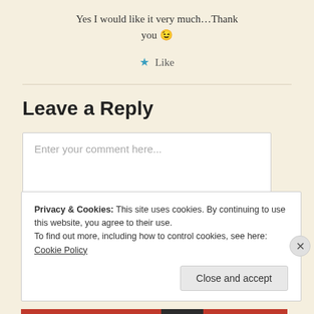Yes I would like it very much…Thank you 😉
★ Like
Leave a Reply
Enter your comment here...
Privacy & Cookies: This site uses cookies. By continuing to use this website, you agree to their use. To find out more, including how to control cookies, see here: Cookie Policy
Close and accept